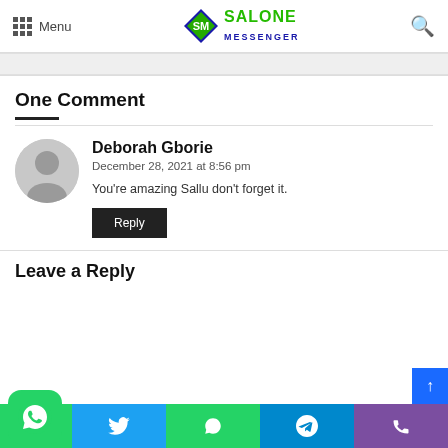Menu | Salone Messenger
One Comment
Deborah Gborie
December 28, 2021 at 8:56 pm
You're amazing Sallu don't forget it.
Reply
Leave a Reply